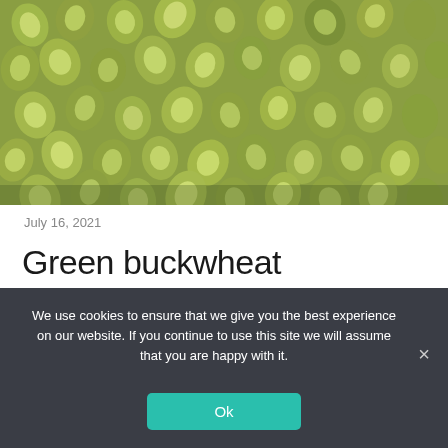[Figure (photo): Close-up photo of green buckwheat grains (unground), showing numerous small triangular/heart-shaped green seeds filling the frame.]
July 16, 2021
Green buckwheat (unground)
Read more
We use cookies to ensure that we give you the best experience on our website. If you continue to use this site we will assume that you are happy with it.